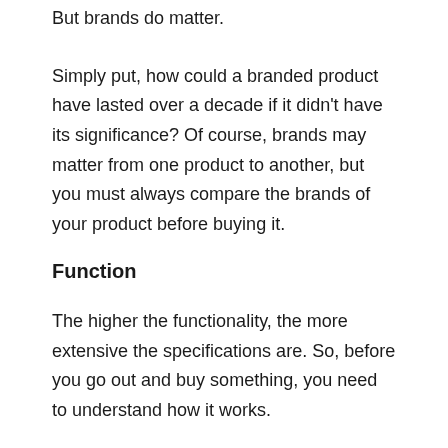But brands do matter.
Simply put, how could a branded product have lasted over a decade if it didn't have its significance? Of course, brands may matter from one product to another, but you must always compare the brands of your product before buying it.
Function
The higher the functionality, the more extensive the specifications are. So, before you go out and buy something, you need to understand how it works.